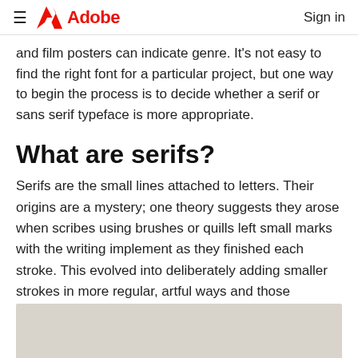≡ Adobe  Sign in
and film posters can indicate genre. It's not easy to find the right font for a particular project, but one way to begin the process is to decide whether a serif or sans serif typeface is more appropriate.
What are serifs?
Serifs are the small lines attached to letters. Their origins are a mystery; one theory suggests they arose when scribes using brushes or quills left small marks with the writing implement as they finished each stroke. This evolved into deliberately adding smaller strokes in more regular, artful ways and those decorative strokes became an expected part of the letters.
[Figure (photo): Light gray/beige image area at bottom of page, partially visible]